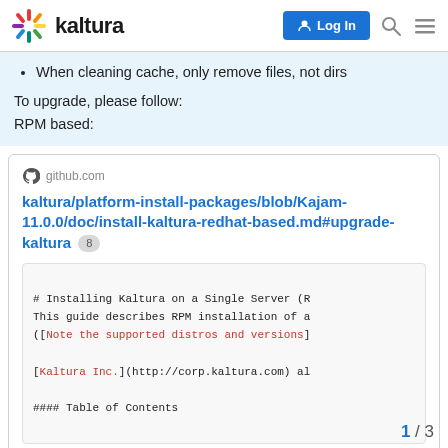kaltura — Log In
When cleaning cache, only remove files, not dirs
To upgrade, please follow:
RPM based:
[Figure (screenshot): GitHub link card for kaltura/platform-install-packages/blob/Kajam-11.0.0/doc/install-kaltura-redhat-based.md#upgrade-kaltura with badge count 8, and a code preview showing RPM installation instructions with red-colored links]
1 / 3